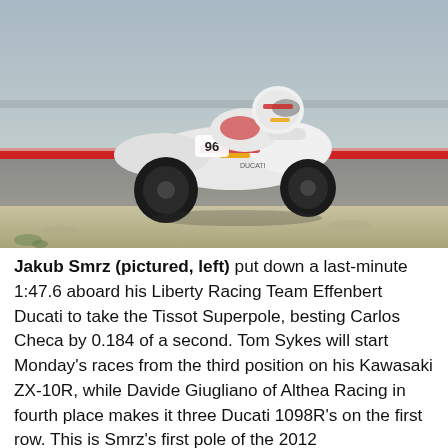[Figure (photo): A motorcycle racer wearing a white helmet and racing suit with number 96, riding a white Ducati motorcycle on a racing circuit. The bike is leaning into a corner on an asphalt track with a red curb stripe and sandy runoff area visible.]
Jakub Smrz (pictured, left) put down a last-minute 1:47.6 aboard his Liberty Racing Team Effenbert Ducati to take the Tissot Superpole, besting Carlos Checa by 0.184 of a second. Tom Sykes will start Monday's races from the third position on his Kawasaki ZX-10R, while Davide Giugliano of Althea Racing in fourth place makes it three Ducati 1098R's on the first row. This is Smrz's first pole of the 2012